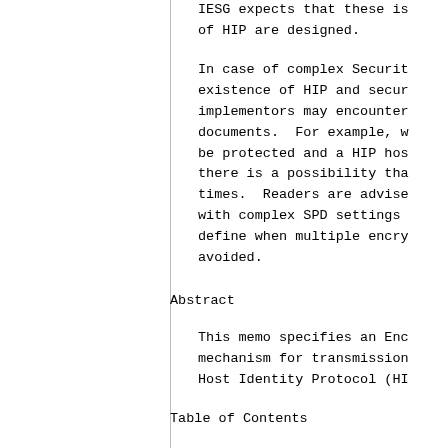IESG expects that these issues of HIP are designed.
In case of complex Security existence of HIP and security implementors may encounter documents. For example, when be protected and a HIP host there is a possibility that times. Readers are advised with complex SPD settings define when multiple encryption avoided.
Abstract
This memo specifies an Encapsulation mechanism for transmission Host Identity Protocol (HIP)
Table of Contents